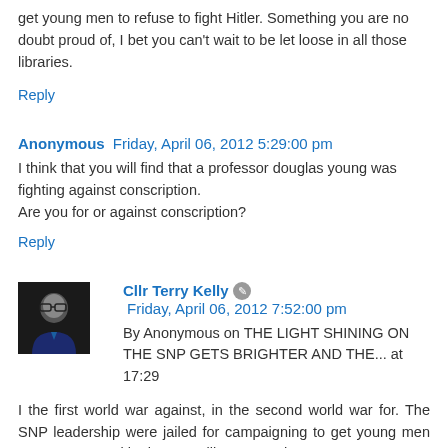get young men to refuse to fight Hitler. Something you are no doubt proud of, I bet you can't wait to be let loose in all those libraries.
Reply
Anonymous  Friday, April 06, 2012 5:29:00 pm
I think that you will find that a professor douglas young was fighting against conscription.
Are you for or against conscription?
Reply
Cllr Terry Kelly  Friday, April 06, 2012 7:52:00 pm
By Anonymous on THE LIGHT SHINING ON THE SNP GETS BRIGHTER AND THE... at 17:29
I the first world war against, in the second world war for. The SNP leadership were jailed for campaigning to get young men not to oppose Hitler because like some others